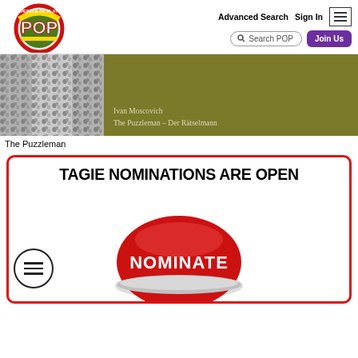[Figure (logo): People of Play (POP) logo — circular badge with colorful text]
Advanced Search   Sign In   ☰   🔍 Search POP   Join Us
[Figure (photo): Book cover showing 'Ivan Moscovich The Puzzleman – Der Rätselmann' with crowd photo on left and olive/khaki background on right]
The Puzzleman
[Figure (infographic): Red-bordered box with text TAGIE NOMINATIONS ARE OPEN and a large red button labeled NOMINATE, with a hamburger menu circle icon on lower left]